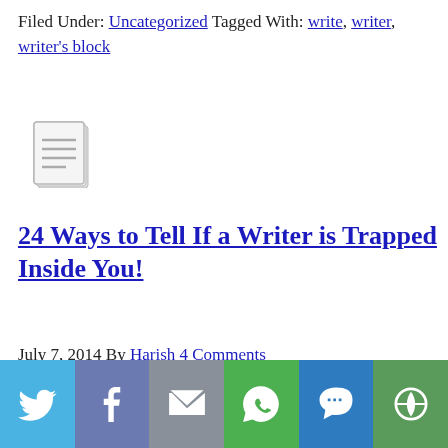Filed Under: Uncategorized Tagged With: write, writer, writer's block
[Figure (illustration): Document/page icon with lines representing text]
24 Ways to Tell If a Writer is Trapped Inside You!
July 7, 2014 By Harish 4 Comments
[Figure (photo): Typewriter with paper showing text: 'I am writing because I'm represent my novel and s...']
[Figure (infographic): Social share bar with Twitter, Facebook, Email, WhatsApp, SMS, and More buttons]